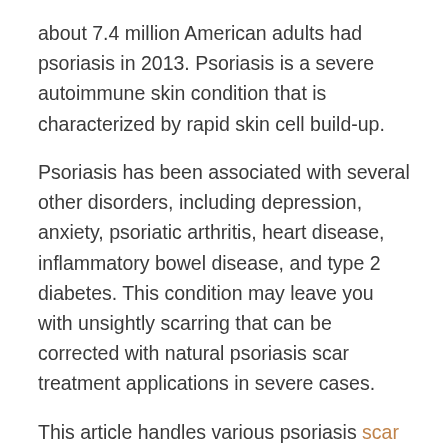about 7.4 million American adults had psoriasis in 2013. Psoriasis is a severe autoimmune skin condition that is characterized by rapid skin cell build-up.
Psoriasis has been associated with several other disorders, including depression, anxiety, psoriatic arthritis, heart disease, inflammatory bowel disease, and type 2 diabetes. This condition may leave you with unsightly scarring that can be corrected with natural psoriasis scar treatment applications in severe cases.
This article handles various psoriasis scar removal methods, but let's first explore...